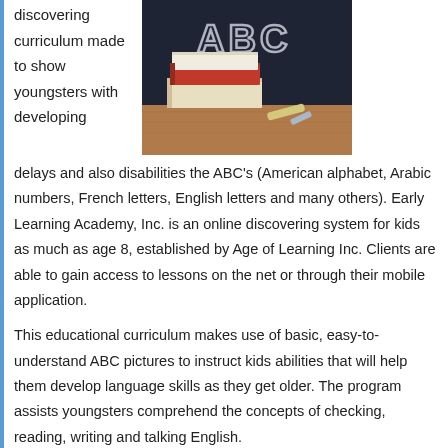discovering curriculum made to show youngsters with developing
[Figure (photo): Photo of stacked books on a wooden desk next to a chalkboard with 'ABC' written on it, along with a piece of chalk.]
delays and also disabilities the ABC's (American alphabet, Arabic numbers, French letters, English letters and many others). Early Learning Academy, Inc. is an online discovering system for kids as much as age 8, established by Age of Learning Inc. Clients are able to gain access to lessons on the net or through their mobile application.
This educational curriculum makes use of basic, easy-to-understand ABC pictures to instruct kids abilities that will help them develop language skills as they get older. The program assists youngsters comprehend the concepts of checking, reading, writing and talking English.